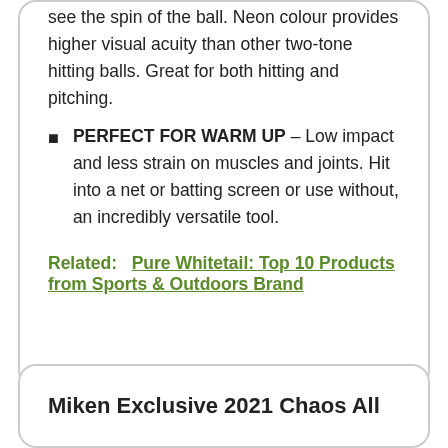see the spin of the ball. Neon colour provides higher visual acuity than other two-tone hitting balls. Great for both hitting and pitching.
PERFECT FOR WARM UP – Low impact and less strain on muscles and joints. Hit into a net or batting screen or use without, an incredibly versatile tool.
Related:   Pure Whitetail: Top 10 Products from Sports & Outdoors Brand
Miken Exclusive 2021 Chaos All